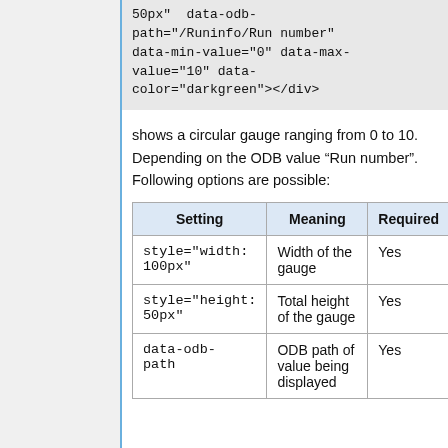50px" data-odb-path="/Runinfo/Run number" data-min-value="0" data-max-value="10" data-color="darkgreen"></div>
shows a circular gauge ranging from 0 to 10. Depending on the ODB value "Run number". Following options are possible:
| Setting | Meaning | Required |
| --- | --- | --- |
| style="width: 100px" | Width of the gauge | Yes |
| style="height: 50px" | Total height of the gauge | Yes |
| data-odb-path | ODB path of value being displayed | Yes |